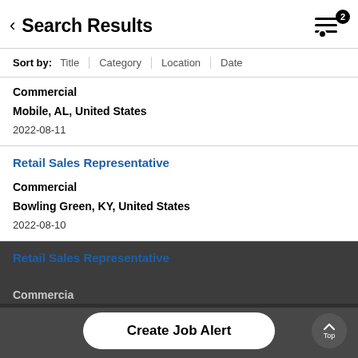Search Results
Sort by: Title | Category | Location | Date
Commercial
Mobile, AL, United States
2022-08-11
Retail Sales Representative
Commercial
Bowling Green, KY, United States
2022-08-10
Retail Sales Representative
Commercial
Create Job Alert